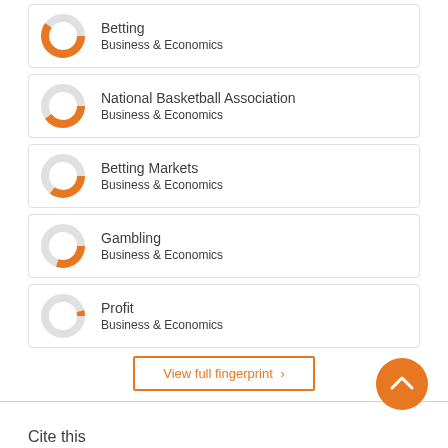[Figure (donut-chart): Betting]
Betting
Business & Economics
[Figure (donut-chart): National Basketball Association]
National Basketball Association
Business & Economics
[Figure (donut-chart): Betting Markets]
Betting Markets
Business & Economics
[Figure (donut-chart): Gambling]
Gambling
Business & Economics
[Figure (donut-chart): Profit]
Profit
Business & Economics
View full fingerprint >
Cite this